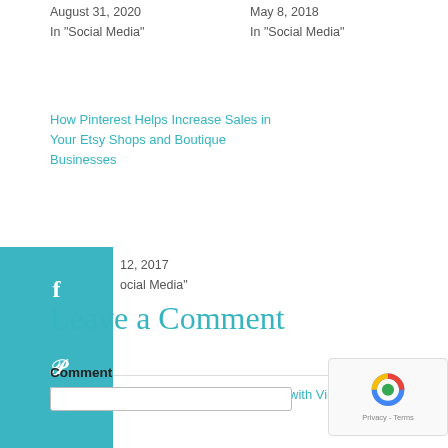August 31, 2020
In "Social Media"
May 8, 2018
In "Social Media"
How Pinterest Helps Increase Sales in Your Etsy Shops and Boutique Businesses
12, 2017
ocial Media"
ock Your Pinterest Marketing with Video Pins!
Leave a Comment
Comment